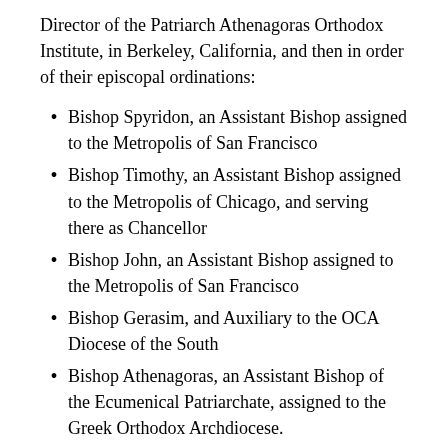Director of the Patriarch Athenagoras Orthodox Institute, in Berkeley, California, and then in order of their episcopal ordinations:
Bishop Spyridon, an Assistant Bishop assigned to the Metropolis of San Francisco
Bishop Timothy, an Assistant Bishop assigned to the Metropolis of Chicago, and serving there as Chancellor
Bishop John, an Assistant Bishop assigned to the Metropolis of San Francisco
Bishop Gerasim, and Auxiliary to the OCA Diocese of the South
Bishop Athenagoras, an Assistant Bishop of the Ecumenical Patriarchate, assigned to the Greek Orthodox Archdiocese.